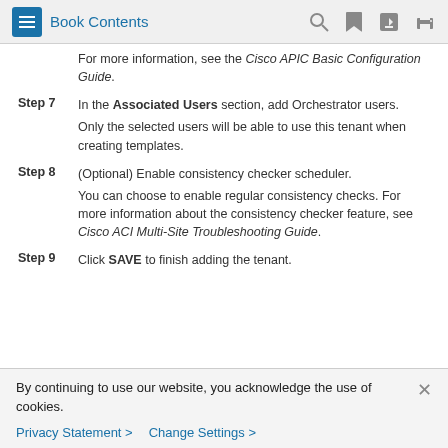Book Contents
For more information, see the Cisco APIC Basic Configuration Guide.
Step 7 — In the Associated Users section, add Orchestrator users. Only the selected users will be able to use this tenant when creating templates.
Step 8 — (Optional) Enable consistency checker scheduler. You can choose to enable regular consistency checks. For more information about the consistency checker feature, see Cisco ACI Multi-Site Troubleshooting Guide.
Step 9 — Click SAVE to finish adding the tenant.
By continuing to use our website, you acknowledge the use of cookies. Privacy Statement > Change Settings >